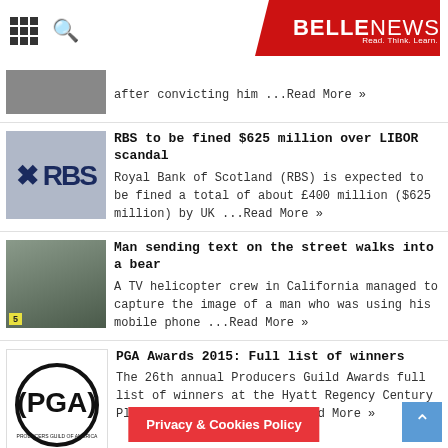BELLE NEWS — Read. Think. Learn.
after convicting him ...Read More »
RBS to be fined $625 million over LIBOR scandal
Royal Bank of Scotland (RBS) is expected to be fined a total of about £400 million ($625 million) by UK ...Read More »
Man sending text on the street walks into a bear
A TV helicopter crew in California managed to capture the image of a man who was using his mobile phone ...Read More »
PGA Awards 2015: Full list of winners
The 26th annual Producers Guild Awards full list of winners at the Hyatt Regency Century Plaza in Los Angeles:   ...Read More »
Privacy & Cookies Policy